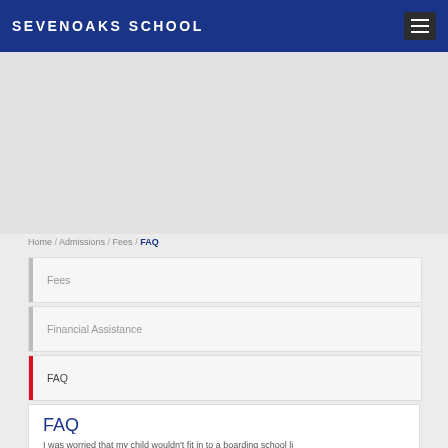SEVENOAKS SCHOOL
Home / Admissions / Fees / FAQ
Fees
Financial Assistance
FAQ
FAQ
I was worried that my child wouldn't fit in to a boarding school li...